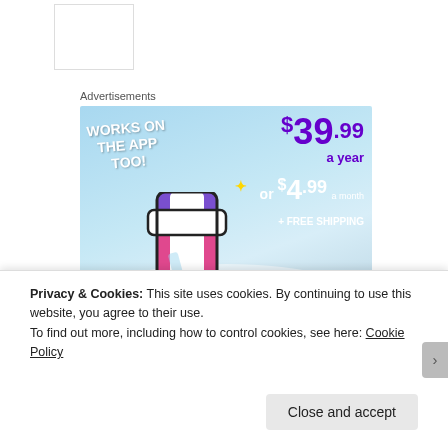Advertisements
[Figure (illustration): Tumblr Ad-Free advertisement banner showing 'WORKS ON THE APP TOO!', pricing of $39.99 a year or $4.99 a month + FREE SHIPPING, Tumblr 't' logo with sparkles, and 'TUMBLR AD-FREE' text at bottom, on a light blue cloudy background.]
Privacy & Cookies: This site uses cookies. By continuing to use this website, you agree to their use. To find out more, including how to control cookies, see here: Cookie Policy
Close and accept